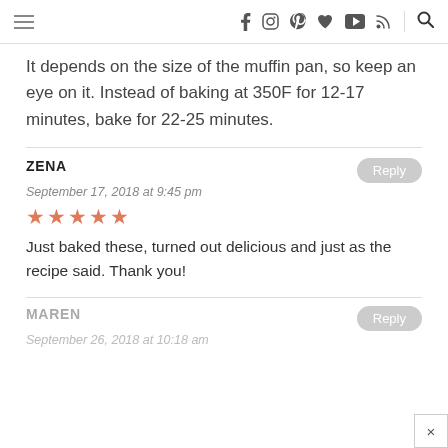Navigation bar with hamburger menu and social icons
It depends on the size of the muffin pan, so keep an eye on it. Instead of baking at 350F for 12-17 minutes, bake for 22-25 minutes.
ZENA
September 17, 2018 at 9:45 pm
★★★★★
Just baked these, turned out delicious and just as the recipe said. Thank you!
MAREN
September 26, 2018 at 10:18 am